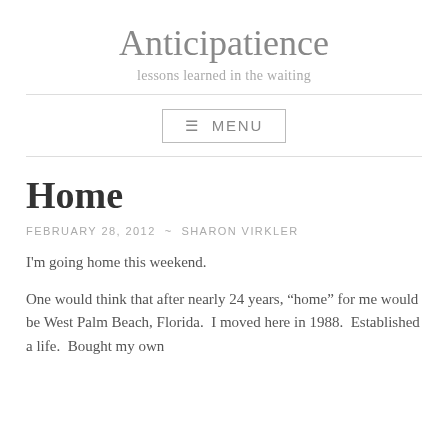Anticipatience
lessons learned in the waiting
≡ MENU
Home
FEBRUARY 28, 2012 ~ SHARON VIRKLER
I'm going home this weekend.
One would think that after nearly 24 years, "home" for me would be West Palm Beach, Florida.  I moved here in 1988.  Established a life.  Bought my own